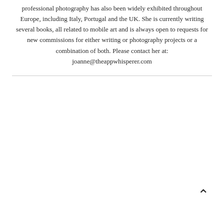professional photography has also been widely exhibited throughout Europe, including Italy, Portugal and the UK. She is currently writing several books, all related to mobile art and is always open to requests for new commissions for either writing or photography projects or a combination of both. Please contact her at: joanne@theappwhisperer.com